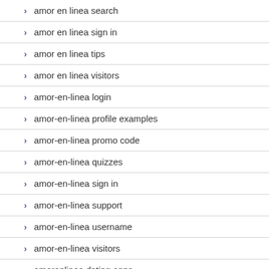amor en linea search
amor en linea sign in
amor en linea tips
amor en linea visitors
amor-en-linea login
amor-en-linea profile examples
amor-en-linea promo code
amor-en-linea quizzes
amor-en-linea sign in
amor-en-linea support
amor-en-linea username
amor-en-linea visitors
amorenlinea dating apps
amorenlinea reviews how to message someone on